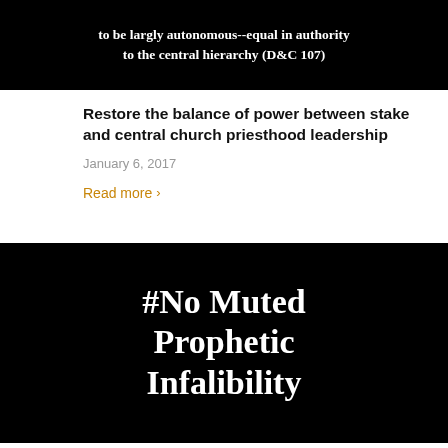[Figure (other): Black background image with white bold text: 'to be largly autonomous--equal in authority to the central hierarchy (D&C 107)']
Restore the balance of power between stake and central church priesthood leadership
January 6, 2017
Read more >
[Figure (other): Black background image with large white serif bold text: '#No Muted Prophetic Infalibility']
Remove the doctrine of muted prophetic infallibility